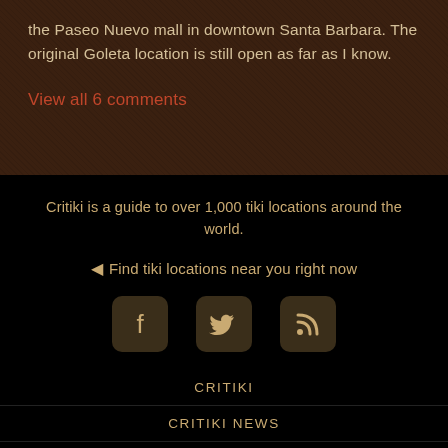the Paseo Nuevo mall in downtown Santa Barbara. The original Goleta location is still open as far as I know.
View all 6 comments
Critiki is a guide to over 1,000 tiki locations around the world.
Find tiki locations near you right now
[Figure (illustration): Social media icons: Facebook, Twitter, RSS feed, displayed as golden icons on dark rounded square backgrounds]
CRITIKI
CRITIKI NEWS
LATEST ACTIVITY